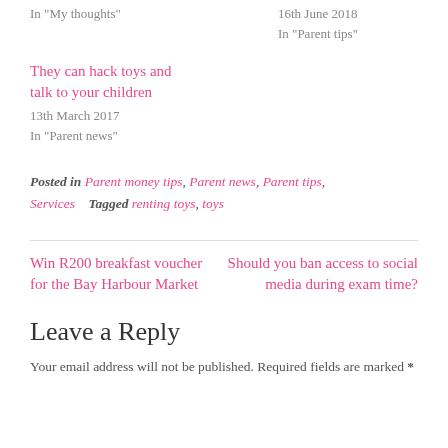In "My thoughts"
16th June 2018
In "Parent tips"
They can hack toys and talk to your children
13th March 2017
In "Parent news"
Posted in Parent money tips, Parent news, Parent tips, Services   Tagged renting toys, toys
Win R200 breakfast voucher for the Bay Harbour Market
Should you ban access to social media during exam time?
Leave a Reply
Your email address will not be published. Required fields are marked *